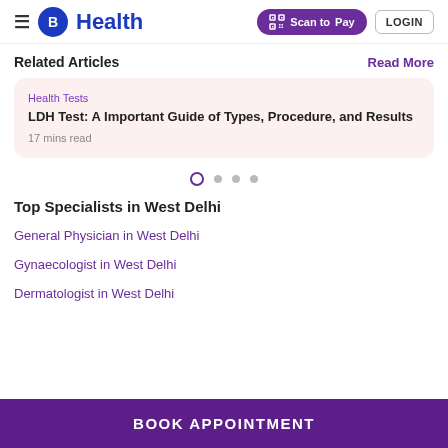≡ B Health  [QR] Scan to Pay  LOGIN
Related Articles
Read More
Health Tests
LDH Test: A Important Guide of Types, Procedure, and Results
17 mins read
Top Specialists in West Delhi
General Physician in West Delhi
Gynaecologist in West Delhi
Dermatologist in West Delhi
BOOK APPOINTMENT